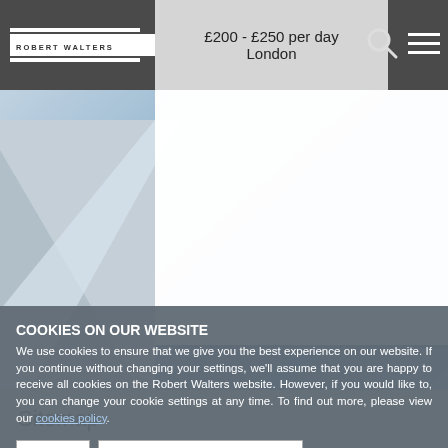ROBERT WALTERS | £200 - £250 per day | London
[Figure (screenshot): Hero image with blue sky and architectural diagonal elements, white content card overlay]
Sitemap
COOKIES ON OUR WEBSITE
We use cookies to ensure that we give you the best experience on our website. If you continue without changing your settings, we'll assume that you are happy to receive all cookies on the Robert Walters website. However, if you would like to, you can change your cookie settings at any time. To find out more, please view our cookies policy.
I agree | No, give me more information